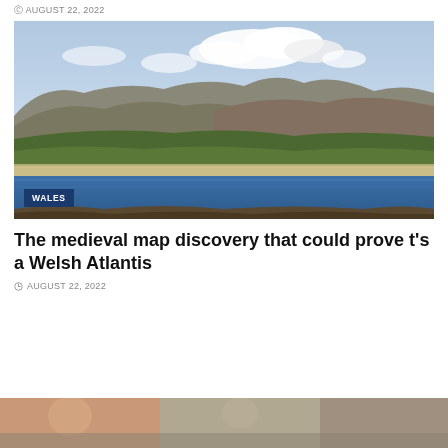AUGUST 22, 2022
[Figure (photo): Coastal landscape with blue sea, sandy shore, green fields, and mountains under a partly cloudy sky. A blue badge reading 'WALES' is overlaid in the bottom-left corner.]
The medieval map discovery that could prove t's a Welsh Atlantis
AUGUST 22, 2022
[Figure (photo): Partial bottom strip showing another image, partially cut off at the bottom of the page.]